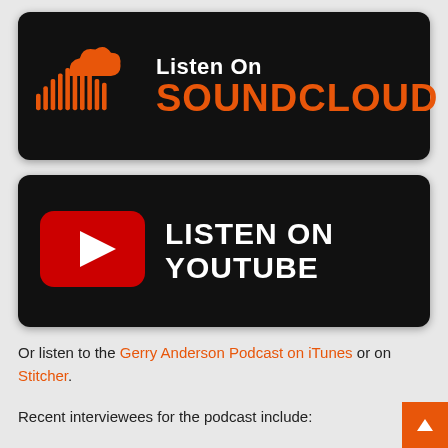[Figure (logo): SoundCloud 'Listen On SoundCloud' banner with orange SoundCloud logo and text on black background]
[Figure (logo): YouTube 'Listen On YouTube' banner with red YouTube play button icon and white text on black background]
Or listen to the Gerry Anderson Podcast on iTunes or on Stitcher.
Recent interviewees for the podcast include: